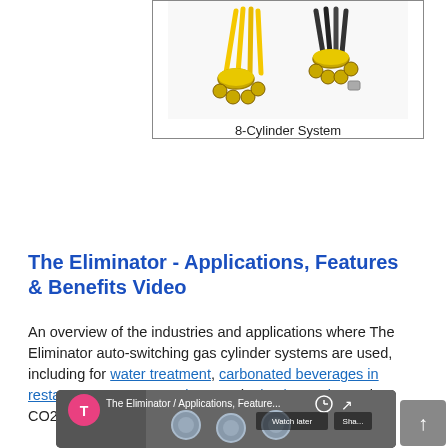[Figure (photo): Image of 8-Cylinder System gas hose connectors with yellow and black fittings, shown in a table cell above the label '8-Cylinder System']
8-Cylinder System
The Eliminator - Applications, Features & Benefits Video
An overview of the industries and applications where The Eliminator auto-switching gas cylinder systems are used, including for water treatment, carbonated beverages in restaurants, grow operations, and microbreweries, using CO2, nitrogen and brew gas cylinders.
[Figure (screenshot): YouTube video thumbnail for 'The Eliminator / Applications, Feature...' showing a pink T icon, watch later and share buttons, and a close-up of mechanical fittings/connectors]